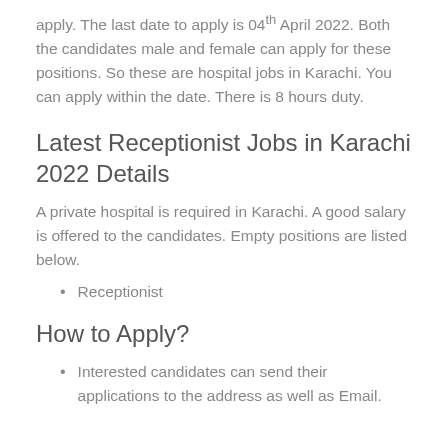apply. The last date to apply is 04th April 2022. Both the candidates male and female can apply for these positions. So these are hospital jobs in Karachi. You can apply within the date. There is 8 hours duty.
Latest Receptionist Jobs in Karachi 2022 Details
A private hospital is required in Karachi. A good salary is offered to the candidates. Empty positions are listed below.
Receptionist
How to Apply?
Interested candidates can send their applications to the address as well as Email.